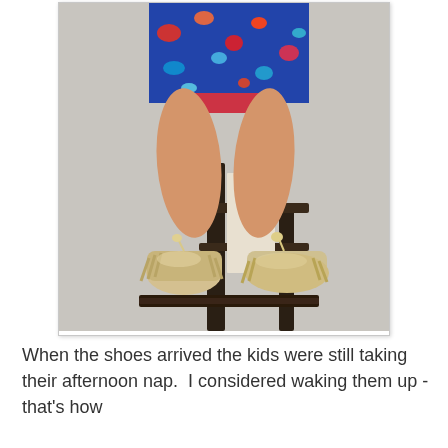[Figure (photo): A young child sitting on a wooden chair, wearing a blue floral dress. The child's legs are dangling, and they are wearing gold/cream colored moccasin-style shoes with fringe and tassel details.]
When the shoes arrived the kids were still taking their afternoon nap.  I considered waking them up - that's how